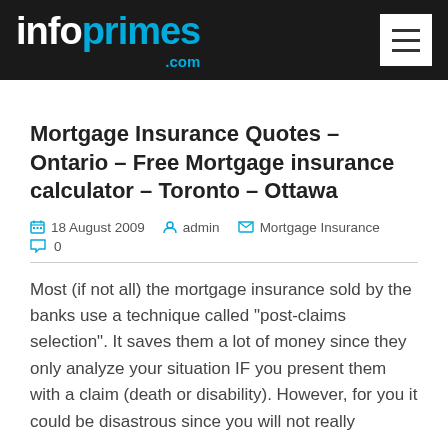infoprimes.com
Mortgage Insurance Quotes – Ontario – Free Mortgage insurance calculator – Toronto – Ottawa
18 August 2009   admin   Mortgage Insurance   0
Most (if not all) the mortgage insurance sold by the banks use a technique called “post-claims selection”. It saves them a lot of money since they only analyze your situation IF you present them with a claim (death or disability). However, for you it could be disastrous since you will not really